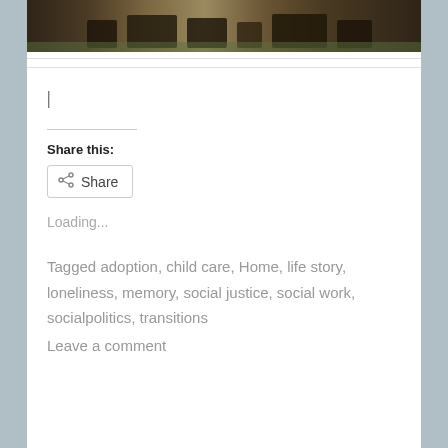[Figure (photo): Outdoor photo showing dark objects or machinery in a field, appears rusty or aged, natural background with grass/ground]
|
Share this:
Share
Loading...
Tagged adoption, child care, Home, life story, loneliness, memory, social justice, social work, socialpolitics, transitions
Leave a comment